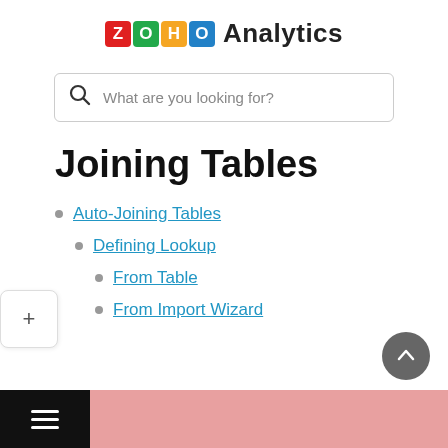ZOHO Analytics
What are you looking for?
Joining Tables
Auto-Joining Tables
Defining Lookup
From Table
From Import Wizard